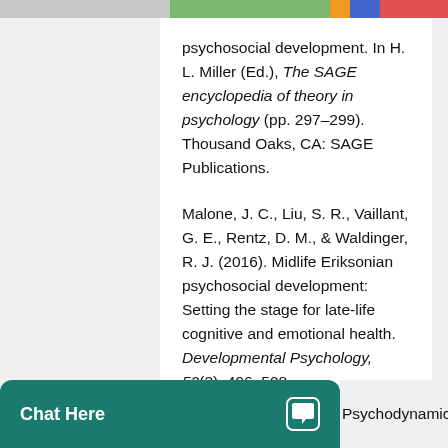[Figure (photo): Partial top strip of an image showing people, partially cropped]
psychosocial development. In H. L. Miller (Ed.), The SAGE encyclopedia of theory in psychology (pp. 297–299). Thousand Oaks, CA: SAGE Publications.
Malone, J. C., Liu, S. R., Vaillant, G. E., Rentz, D. M., & Waldinger, R. J. (2016). Midlife Eriksonian psychosocial development: Setting the stage for late-life cognitive and emotional health. Developmental Psychology, 52(3), 496–508. doi:10.1037/a0039875
Psychodynamic